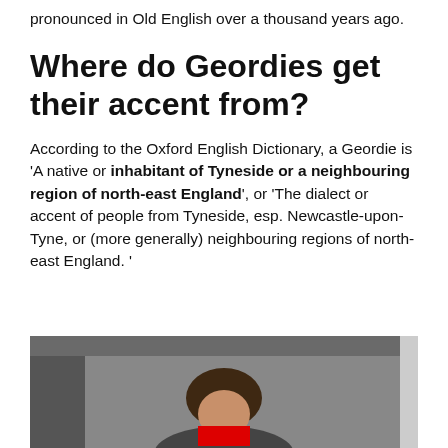pronounced in Old English over a thousand years ago.
Where do Geordies get their accent from?
According to the Oxford English Dictionary, a Geordie is ‘A native or inhabitant of Tyneside or a neighbouring region of north-east England’, or ‘The dialect or accent of people from Tyneside, esp. Newcastle-upon-Tyne, or (more generally) neighbouring regions of north-east England. ’
[Figure (photo): A person with brown hair wearing a dark top and a red item, photographed indoors.]